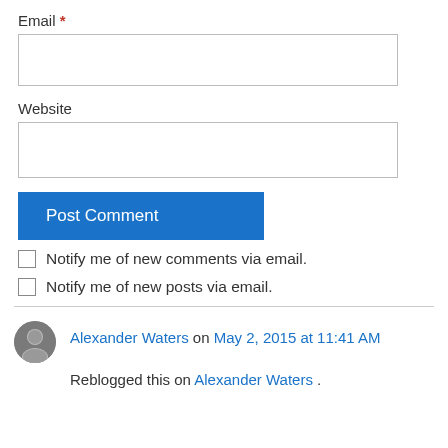Email *
Website
Post Comment
Notify me of new comments via email.
Notify me of new posts via email.
Alexander Waters on May 2, 2015 at 11:41 AM
Reblogged this on Alexander Waters .